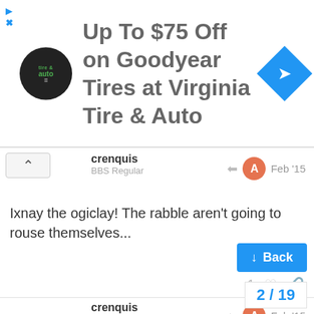[Figure (screenshot): Advertisement banner: Virginia Tire & Auto logo, text 'Up To $75 Off on Goodyear Tires at Virginia Tire & Auto', blue diamond navigation icon]
crenquis
BBS Regular
Feb '15
Ixnay the ogiclay! The rabble aren't going to rouse themselves...
1
crenquis
BBS Regular
Feb '15
They added a pretty crucial correction as well:
Correction: A previous version of this article incorrectly stated that the Eighth Circuit Court's de could lactate. That language was includ
Back
2 / 19